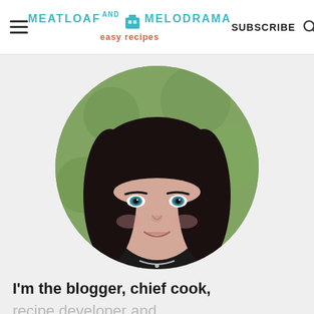Meatloaf and Melodrama easy recipes | SUBSCRIBE
[Figure (photo): Circular portrait photo of a young woman with long dark black hair with bangs, blue-green eyes, smiling, wearing a necklace, background is green grass/foliage]
I'm the blogger, chief cook,
recipe developer and